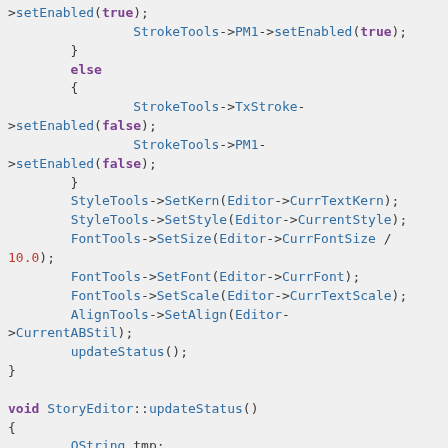Source code snippet showing C++ StoryEditor methods with syntax highlighting